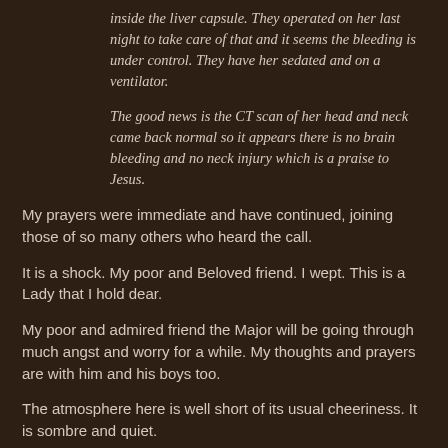inside the liver capsule. They operated on her last night to take care of that and it seems the bleeding is under control. They have her sedated and on a ventilator.
The good news is the CT scan of her head and neck came back normal so it appears there is no brain bleeding and no neck injury which is a praise to Jesus.
My prayers were immediate and have continued, joining those of so many others who heard the call.
It is a shock. My poor and Beloved friend. I wept. This is a Lady that I hold dear.
My poor and admired friend the Major will be going through much angst and worry for a while. My thoughts and prayers are with him and his boys too.
The atmosphere here is well short of its usual cheeriness. It is sombre and quiet.